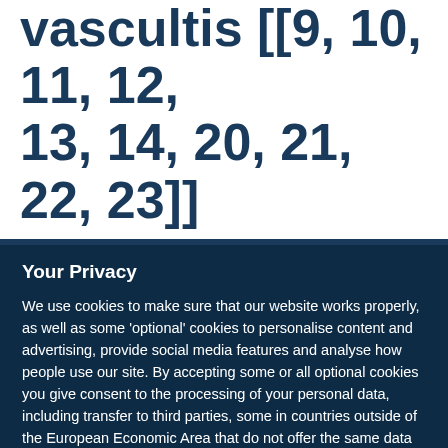vascultis [[9, 10, 11, 12, 13, 14, 20, 21, 22, 23]]
Your Privacy
We use cookies to make sure that our website works properly, as well as some 'optional' cookies to personalise content and advertising, provide social media features and analyse how people use our site. By accepting some or all optional cookies you give consent to the processing of your personal data, including transfer to third parties, some in countries outside of the European Economic Area that do not offer the same data protection standards as the country where you live. You can decide which optional cookies to accept by clicking on 'Manage Settings', where you can also find more information about how your personal data is processed. Further information can be found in our privacy policy.
Accept all cookies
Manage preferences